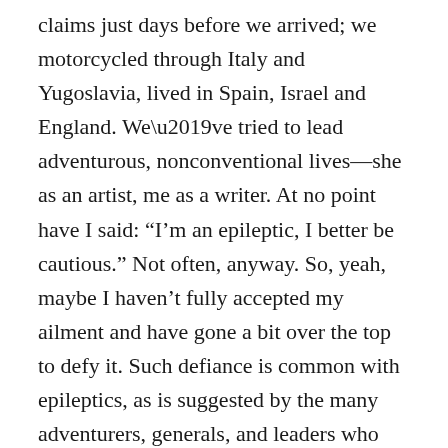claims just days before we arrived; we motorcycled through Italy and Yugoslavia, lived in Spain, Israel and England. We’ve tried to lead adventurous, nonconventional lives—she as an artist, me as a writer. At no point have I said: “I’m an epileptic, I better be cautious.” Not often, anyway. So, yeah, maybe I haven’t fully accepted my ailment and have gone a bit over the top to defy it. Such defiance is common with epileptics, as is suggested by the many adventurers, generals, and leaders who have battled epilepsy. Julius Caesar, Joan of